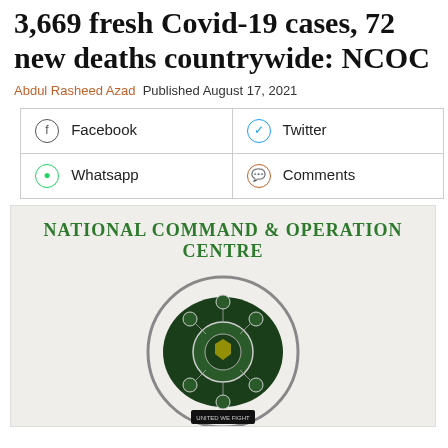3,669 fresh Covid-19 cases, 72 new deaths countrywide: NCOC
Abdul Rasheed Azad Published August 17, 2021
| Facebook | Twitter |
| Whatsapp | Comments |
[Figure (logo): National Command & Operation Centre logo with circular emblem showing UNITED WE FIGHT text at bottom]